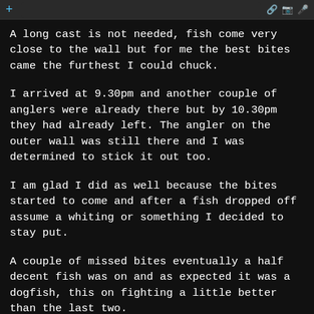+ [icons]
A long cast is not needed, fish come very close to the wall but for me the best bites came the furthest I could chuck.
I arrived at 9.30pm and another couple of anglers were already there but by 10.30pm they had already left. The angler on the outer wall was still there and I was determined to stick it out too.
I am glad I did as well because the bites started to come and after a fish dropped off assume a whiting or something I decided to stay put.
A couple of missed bites eventually a half decent fish was on and as expected it was a dogfish, this on fighting a little better than the last two.
The problem was as I was lifting it up the